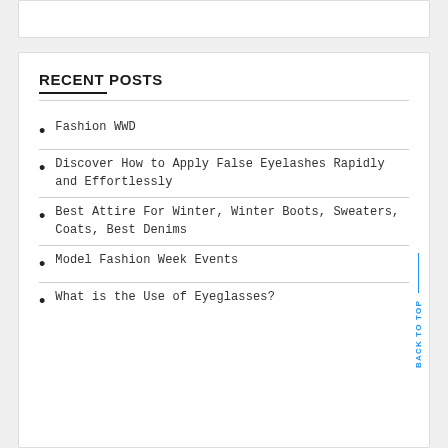RECENT POSTS
Fashion WWD
Discover How to Apply False Eyelashes Rapidly and Effortlessly
Best Attire For Winter, Winter Boots, Sweaters, Coats, Best Denims
Model Fashion Week Events
What is the Use of Eyeglasses?